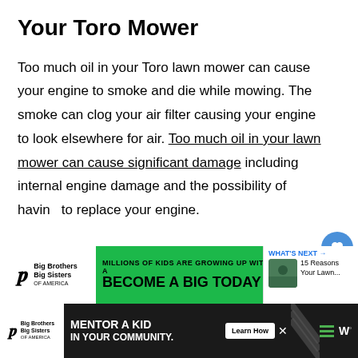Your Toro Mower
Too much oil in your Toro lawn mower can cause your engine to smoke and die while mowing. The smoke can clog your air filter causing your engine to look elsewhere for air. Too much oil in your lawn mower can cause significant damage including internal engine damage and the possibility of having to replace your engine.
[Figure (screenshot): Big Brothers Big Sisters advertisement banner: green background with text 'MILLIONS OF KIDS ARE GROWING UP WITHOUT A BIG. BECOME A BIG TODAY' with Learn How button]
[Figure (screenshot): What's Next panel showing '15 Reasons Your Lawn...' with thumbnail]
[Figure (screenshot): Bottom advertisement: dark background with Big Brothers Big Sisters logo and text 'MENTOR A KID IN YOUR COMMUNITY.' with Learn How button]